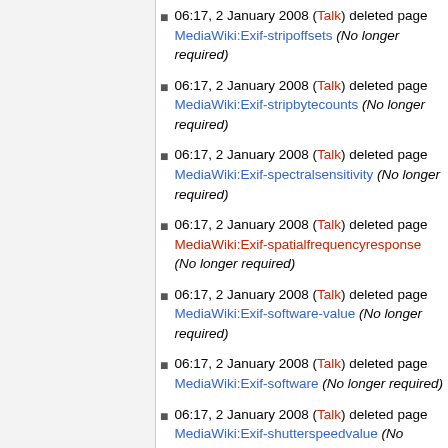06:17, 2 January 2008 (Talk) deleted page MediaWiki:Exif-stripoffsets (No longer required)
06:17, 2 January 2008 (Talk) deleted page MediaWiki:Exif-stripbytecounts (No longer required)
06:17, 2 January 2008 (Talk) deleted page MediaWiki:Exif-spectralsensitivity (No longer required)
06:17, 2 January 2008 (Talk) deleted page MediaWiki:Exif-spatialfrequencyresponse (No longer required)
06:17, 2 January 2008 (Talk) deleted page MediaWiki:Exif-software-value (No longer required)
06:17, 2 January 2008 (Talk) deleted page MediaWiki:Exif-software (No longer required)
06:17, 2 January 2008 (Talk) deleted page MediaWiki:Exif-shutterspeedvalue (No longer required)
06:17, 2 January 2008 (Talk) deleted page MediaWiki:Exif-sharpness-2 (No longer required)